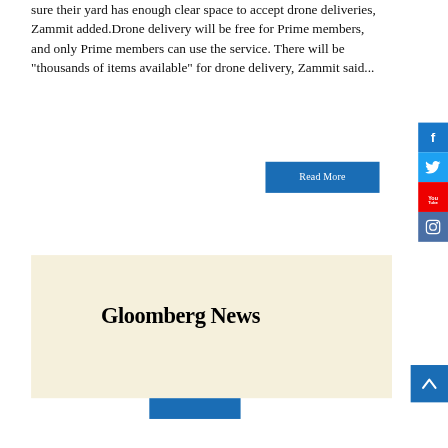sure their yard has enough clear space to accept drone deliveries, Zammit added.Drone delivery will be free for Prime members, and only Prime members can use the service. There will be "thousands of items available" for drone delivery, Zammit said...
[Figure (other): Read More button (blue rectangle with white text)]
[Figure (other): Social media sidebar with Facebook, Twitter, YouTube, and Instagram buttons]
[Figure (other): Gloomberg News logo/title in blackletter font on cream background]
[Figure (other): Scroll to top button (blue with up arrow)]
[Figure (other): Blue button at bottom of page]